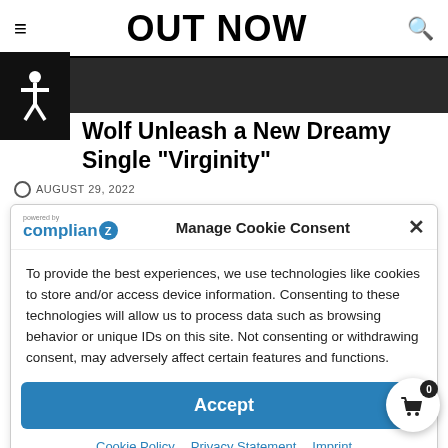OUT NOW
Wolf Unleash a New Dreamy Single "Virginity"
AUGUST 29, 2022
Manage Cookie Consent
To provide the best experiences, we use technologies like cookies to store and/or access device information. Consenting to these technologies will allow us to process data such as browsing behavior or unique IDs on this site. Not consenting or withdrawing consent, may adversely affect certain features and functions.
Accept
Cookie Policy  Privacy Statement  Imprint